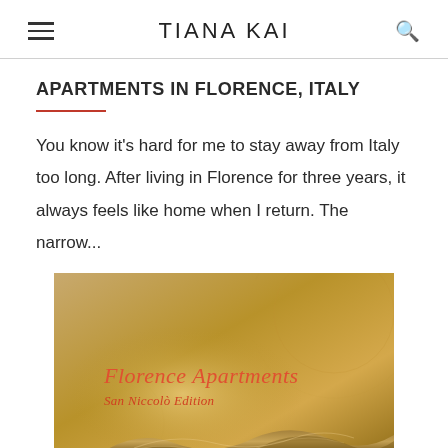TIANA KAI
APARTMENTS IN FLORENCE, ITALY
You know it's hard for me to stay away from Italy too long. After living in Florence for three years, it always feels like home when I return. The narrow...
[Figure (photo): Book cover image showing 'Florence Apartments San Niccolò Edition' text over a warm golden-brown textured background with decorative carved wooden element at the bottom]